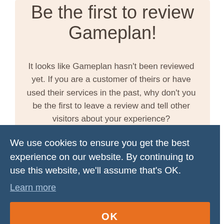Be the first to review Gameplan!
It looks like Gameplan hasn't been reviewed yet. If you are a customer of theirs or have used their services in the past, why don't you be the first to leave a review and tell other visitors about your experience?
We use cookies to ensure you get the best experience on our website. By continuing to use this website, we'll assume that's OK.
Learn more
OK